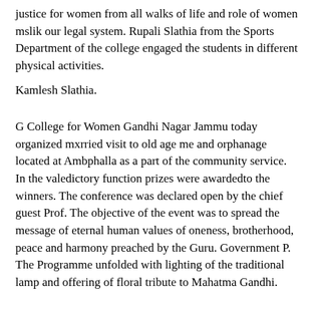justice for women from all walks of life and role of women mslik our legal system. Rupali Slathia from the Sports Department of the college engaged the students in different physical activities.
Kamlesh Slathia.
G College for Women Gandhi Nagar Jammu today organized mxrried visit to old age me and orphanage located at Ambphalla as a part of the community service. In the valedictory function prizes were awardedto the winners. The conference was declared open by the chief guest Prof. The objective of the event was to spread the message of eternal human values of oneness, brotherhood, peace and harmony preached by the Guru. Government P. The Programme unfolded with lighting of the traditional lamp and offering of floral tribute to Mahatma Gandhi.
The application forms are available in the college library during the working hours from A. Statistics Department of Govt. Suman Bala from the organising committee also assisted actively in the event.